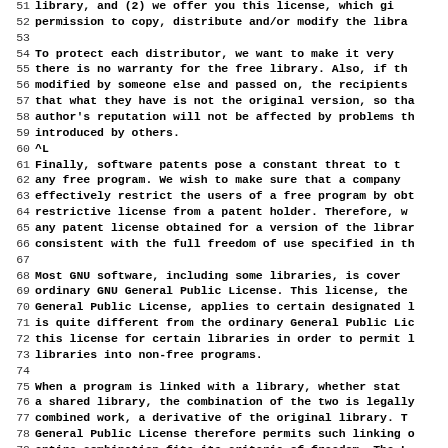51 library, and (2) we offer you this license, which gives
52 permission to copy, distribute and/or modify the libra
53
54   To protect each distributor, we want to make it very
55 there is no warranty for the free library.  Also, if th
56 modified by someone else and passed on, the recipients
57 that what they have is not the original version, so tha
58 author's reputation will not be affected by problems th
59 introduced by others.
60 ^L
61   Finally, software patents pose a constant threat to t
62 any free program.  We wish to make sure that a company
63 effectively restrict the users of a free program by obt
64 restrictive license from a patent holder.  Therefore, w
65 any patent license obtained for a version of the librar
66 consistent with the full freedom of use specified in th
67
68   Most GNU software, including some libraries, is cover
69 ordinary GNU General Public License.  This license, the
70 General Public License, applies to certain designated l
71 is quite different from the ordinary General Public Lic
72 this license for certain libraries in order to permit l
73 libraries into non-free programs.
74
75   When a program is linked with a library, whether stat
76 a shared library, the combination of the two is legally
77 combined work, a derivative of the original library.  T
78 General Public License therefore permits such linking o
79 entire combination fits its criteria of freedom.  The L
80 Public License permits more lax criteria for linking ot
81 the library.
82
83   We call this license the "Lesser" General Public Lice